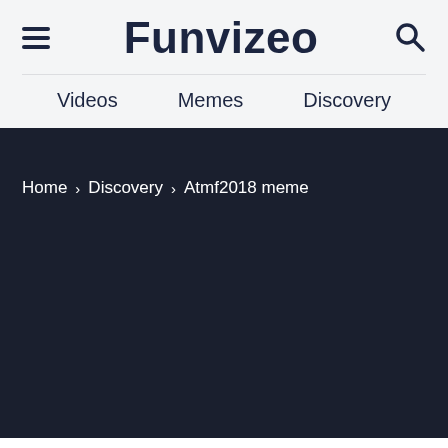Funvizeo
Videos   Memes   Discovery
Home > Discovery > Atmf2018 meme